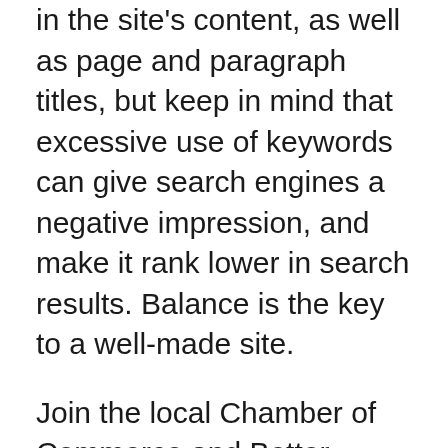in the site's content, as well as page and paragraph titles, but keep in mind that excessive use of keywords can give search engines a negative impression, and make it rank lower in search results. Balance is the key to a well-made site.
Join the local Chamber of Commerce and Better Business Bureau for better search engine rankings. This assists with local searches as they are generally automatically linked to you. People are more likely to trust your website if you are approved at the Better Business Bureau.
Make the most of your title tags to ensure that search engines correctly interpret the purpose of your site. Keep your text down to